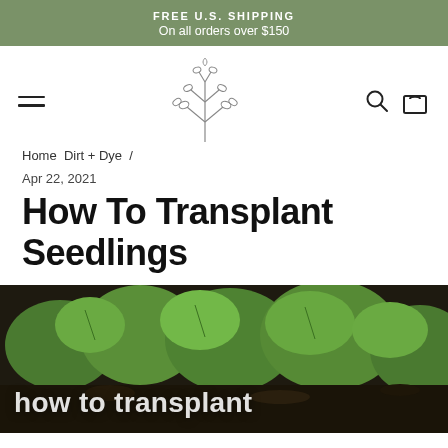FREE U.S. SHIPPING
On all orders over $150
[Figure (logo): Botanical branch line-art logo with search and cart icons, hamburger menu]
Home / Dirt + Dye /
Apr 22, 2021
How To Transplant Seedlings
[Figure (photo): Close-up photograph of green seedlings growing in dark soil, with white text overlay reading 'how to transplant']